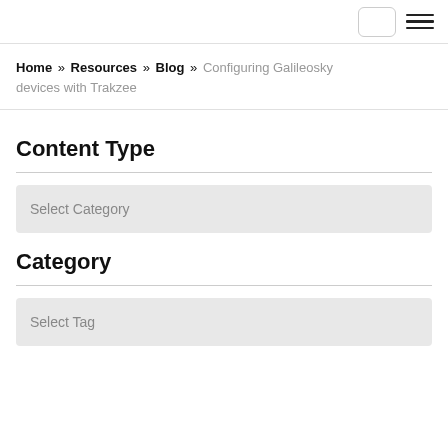[nav box] [hamburger menu]
Home » Resources » Blog » Configuring Galileosky devices with Trakzee
Content Type
Select Category
Category
Select Tag